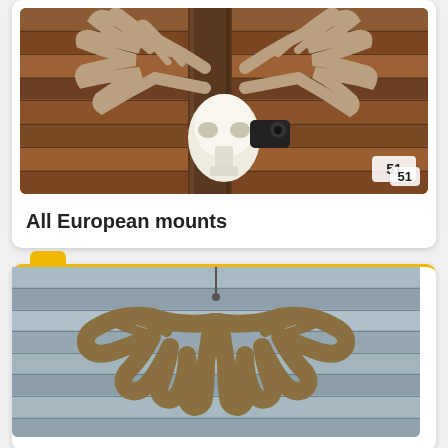[Figure (photo): A European mount (deer skull with antlers) hanging on a wooden plank wall with a black wall mount bracket. Number badge showing 51 in lower right corner of the photo.]
All European mounts
[Figure (photo): Deer antlers laid flat against a weathered wooden plank background, viewed from above.]